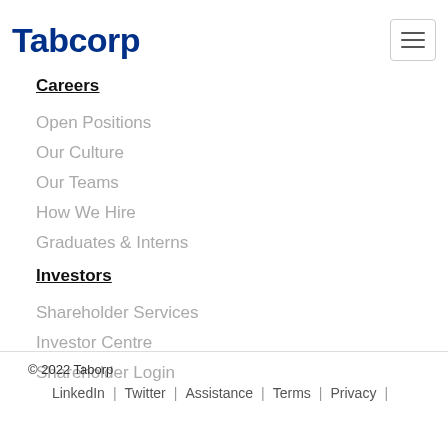Tabcorp
Careers
Open Positions
Our Culture
Our Teams
How We Hire
Graduates & Interns
Investors
Shareholder Services
Investor Centre
Shareholder Login
© 2022 Taborp  LinkedIn | Twitter | Assistance | Terms | Privacy |